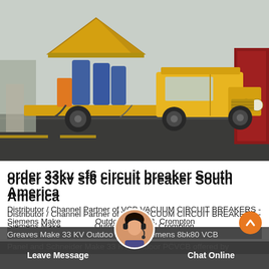[Figure (photo): Yellow utility/service truck with equipment mounted on flatbed, photographed on a road, overcast sky background]
order 33kv sf6 circuit breaker South America
Distributor / Channel Partner of VCB VACUUM CIRCUIT BREAKERS - Siemens Make 33 KV Outdoor PCVCB, Crompton Greaves Make 33 KV Outdoor VCB, Siemens 8bk80 VCB Panel and Schneider Make 33 KV Outdoor PCVCB offered by